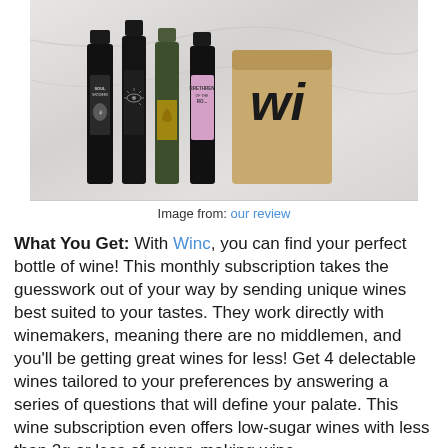[Figure (photo): Photo of four wine bottles standing in front of a cardboard box with a 'wi' logo (Winc branding), on a marble surface. Bottles include dark bottles with artistic labels; one has a pink/lavender label reading 'BRETHREN OF THE RO...']
Image from: our review
What You Get: With Winc, you can find your perfect bottle of wine! This monthly subscription takes the guesswork out of your way by sending unique wines best suited to your tastes. They work directly with winemakers, meaning there are no middlemen, and you'll be getting great wines for less! Get 4 delectable wines tailored to your preferences by answering a series of questions that will define your palate. This wine subscription even offers low-sugar wines with less than 2g or less of sugar, making wine